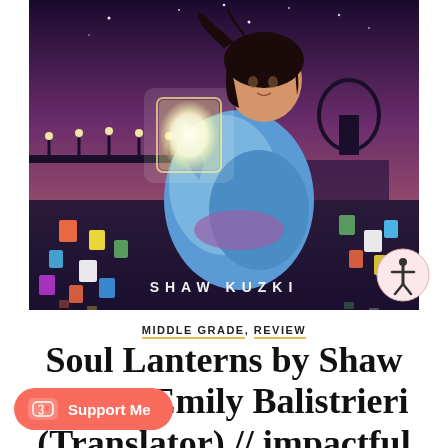[Figure (illustration): Book cover illustration of a young woman in a blue kimono holding a glowing lantern, surrounded by floating colorful lanterns at night. Text 'SHAW KUZKI' at bottom. Dark sky with stars and city silhouette in background.]
MIDDLE GRADE, REVIEW
Soul Lanterns by Shaw Kuzki, Emily Balistrieri (Translator) // impactful and powerful middle
[Figure (logo): Ko-fi Support Me button — red/salmon rounded rectangle with coffee cup icon and 'Support Me' text]